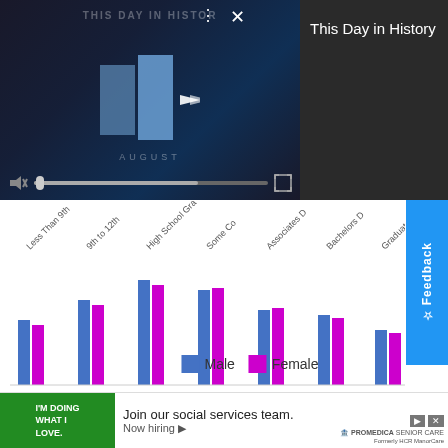[Figure (screenshot): Video player showing 'This Day in History' with dark background, play button, mute icon, progress bar, and fullscreen icon]
This Day in History
[Figure (bar-chart): Bar chart showing education attainment by gender (Male/Female) with categories: Less Than 9th, 9th to 12th, High School Gra[duate], Some Co[llege], Associates D[egree], Bachelors D[egree], Graduate D[egree]]
| Education Attained | Count | Percentage |
| --- | --- | --- |
| Less Than 9th Grade | 1,114 | 7.80% |
[Figure (infographic): Advertisement banner: green section with 'I'M DOING WHAT I LOVE.' text, main area with 'Join our social services team. Now hiring' and ProMedica Senior Care logo]